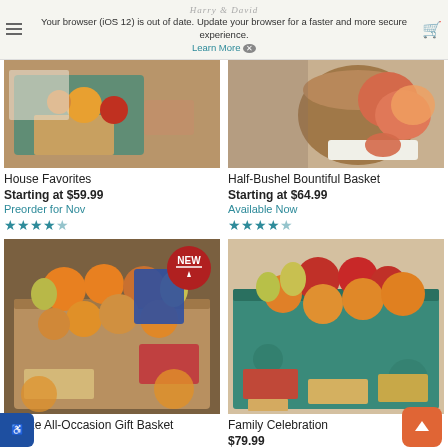Your browser (iOS 12) is out of date. Update your browser for a faster and more secure experience. Learn More
[Figure (photo): House Favorites gift basket product photo - teal decorative box with fruits and snacks on wooden board]
House Favorites
Starting at $59.99
Preorder for Nov
★★★★½ (star rating)
[Figure (photo): Half-Bushel Bountiful Basket product photo - wooden bushel basket with grapefruit and citrus fruits]
Half-Bushel Bountiful Basket
Starting at $64.99
Available Now
★★★★½ (star rating)
[Figure (photo): Deluxe All-Occasion Gift Basket product photo - wicker basket with oranges, pears, and snacks, NEW badge overlay]
Deluxe All-Occasion Gift Basket
Starting at $9.99 (partially visible)
[Figure (photo): Family Celebration product photo - teal decorative box with apples, oranges, pears and snacks]
Family Celebration
$79.99